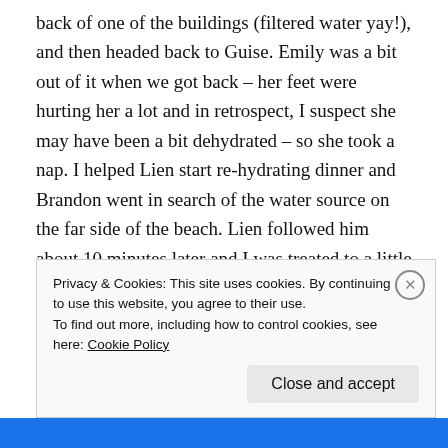back of one of the buildings (filtered water yay!), and then headed back to Guise. Emily was a bit out of it when we got back – her feet were hurting her a lot and in retrospect, I suspect she may have been a bit dehydrated – so she took a nap. I helped Lien start re-hydrating dinner and Brandon went in search of the water source on the far side of the beach. Lien followed him about 10 minutes later and I was treated to a little show from the other side of the beach. Our timing with collecting water was really good because we didn't realize the water source was only accessible when the tide was low. I watched as Lien zigzagged his way across
Privacy & Cookies: This site uses cookies. By continuing to use this website, you agree to their use.
To find out more, including how to control cookies, see here: Cookie Policy
Close and accept